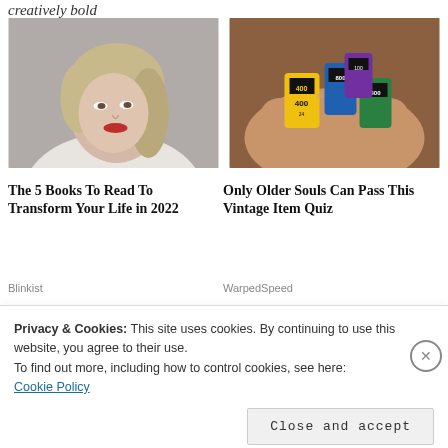creatively bold
[Figure (photo): Portrait of a young blonde woman with red lips looking to the side against a grey background]
The 5 Books To Read To Transform Your Life in 2022
Blinkist
[Figure (photo): A hand holding several rolls of vintage film including Kodak 400 and other brands]
Only Older Souls Can Pass This Vintage Item Quiz
WarpedSpeed
Share this:
Privacy & Cookies: This site uses cookies. By continuing to use this website, you agree to their use.
To find out more, including how to control cookies, see here:
Cookie Policy
Close and accept